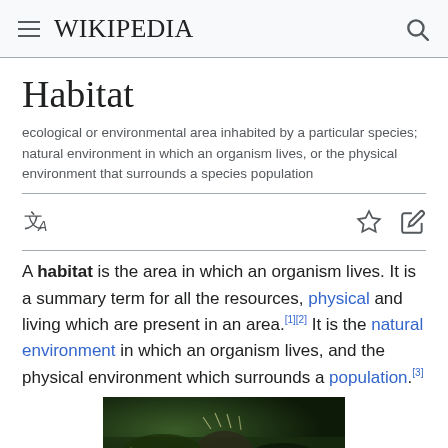Wikipedia
Habitat
ecological or environmental area inhabited by a particular species; natural environment in which an organism lives, or the physical environment that surrounds a species population
A habitat is the area in which an organism lives. It is a summary term for all the resources, physical and living which are present in an area.[1][2] It is the natural environment in which an organism lives, and the physical environment which surrounds a population.[3]
[Figure (photo): Photo of an animal (likely a crab or lobster) in a natural habitat with green grass and rocky environment]